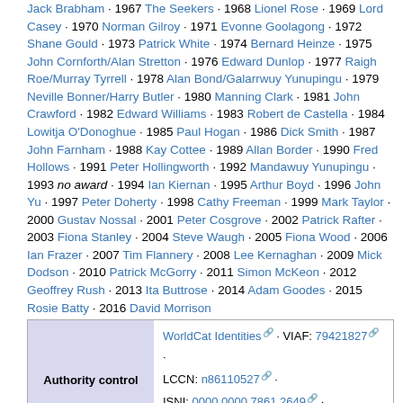Jack Brabham · 1967 The Seekers · 1968 Lionel Rose · 1969 Lord Casey · 1970 Norman Gilroy · 1971 Evonne Goolagong · 1972 Shane Gould · 1973 Patrick White · 1974 Bernard Heinze · 1975 John Cornforth/Alan Stretton · 1976 Edward Dunlop · 1977 Raigh Roe/Murray Tyrrell · 1978 Alan Bond/Galarrwuy Yunupingu · 1979 Neville Bonner/Harry Butler · 1980 Manning Clark · 1981 John Crawford · 1982 Edward Williams · 1983 Robert de Castella · 1984 Lowitja O'Donoghue · 1985 Paul Hogan · 1986 Dick Smith · 1987 John Farnham · 1988 Kay Cottee · 1989 Allan Border · 1990 Fred Hollows · 1991 Peter Hollingworth · 1992 Mandawuy Yunupingu · 1993 no award · 1994 Ian Kiernan · 1995 Arthur Boyd · 1996 John Yu · 1997 Peter Doherty · 1998 Cathy Freeman · 1999 Mark Taylor · 2000 Gustav Nossal · 2001 Peter Cosgrove · 2002 Patrick Rafter · 2003 Fiona Stanley · 2004 Steve Waugh · 2005 Fiona Wood · 2006 Ian Frazer · 2007 Tim Flannery · 2008 Lee Kernaghan · 2009 Mick Dodson · 2010 Patrick McGorry · 2011 Simon McKeon · 2012 Geoffrey Rush · 2013 Ita Buttrose · 2014 Adam Goodes · 2015 Rosie Batty · 2016 David Morrison
| Authority control | links |
| --- | --- |
| Authority control | WorldCat Identities · VIAF: 79421827 · LCCN: n86110527 · ISNI: 0000 0000 7861 2649 · SUDOC: 130070815 |
This article is issued from Wikipedia - version of the 9/26/2016. The text is available under the Creative Commons